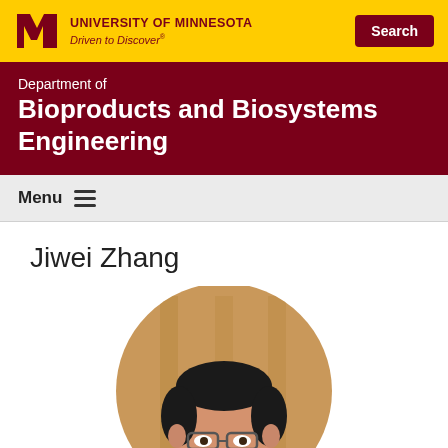[Figure (logo): University of Minnesota logo with M block letter, university name, and Driven to Discover tagline. Search button on right.]
Department of Bioproducts and Biosystems Engineering
Menu
Jiwei Zhang
[Figure (photo): Circular portrait photo of Jiwei Zhang, a man wearing glasses, cropped at chest level, against a wood-toned background.]